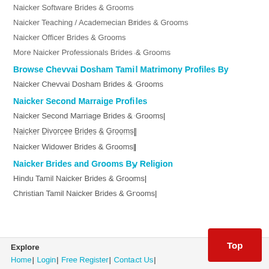Naicker Software Brides & Grooms
Naicker Teaching / Academecian Brides & Grooms
Naicker Officer Brides & Grooms
More Naicker Professionals Brides & Grooms
Browse Chevvai Dosham Tamil Matrimony Profiles By
Naicker Chevvai Dosham Brides & Grooms
Naicker Second Marraige Profiles
Naicker Second Marriage Brides & Grooms|
Naicker Divorcee Brides & Grooms|
Naicker Widower Brides & Grooms|
Naicker Brides and Grooms By Religion
Hindu Tamil Naicker Brides & Grooms|
Christian Tamil Naicker Brides & Grooms|
Explore
Home | Login | Free Register | Contact Us |